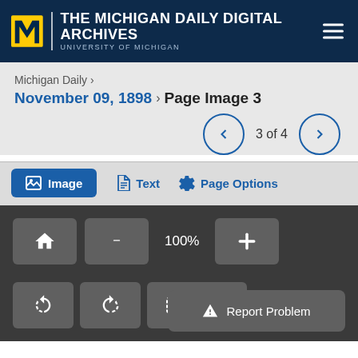THE MICHIGAN DAILY DIGITAL ARCHIVES — UNIVERSITY OF MICHIGAN
Michigan Daily ›
November 09, 1898 › Page Image 3
3 of 4
Image   Text   Page Options
100%
Select   Report Problem